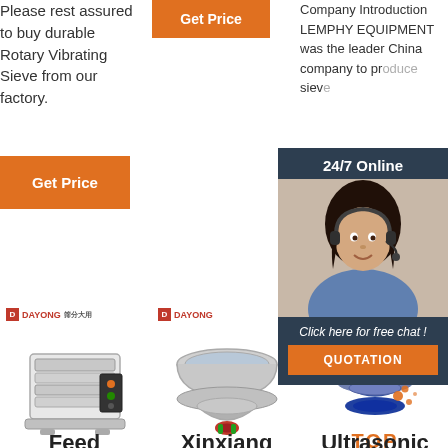Please rest assured to buy durable Rotary Vibrating Sieve from our factory.
[Figure (other): Orange 'Get Price' button (top center)]
Company Introduction LEMPHY EQUIPMENT was the leader China company to produce sieve
[Figure (other): 24/7 Online chat popup overlay with female agent photo, 'Click here for free chat!' text and QUOTATION button]
[Figure (other): Orange 'Get Price' button (left side)]
[Figure (other): Orange 'Get Price' button (col 3)]
[Figure (other): DAYONG branded feed sieve machine product image]
Feed
[Figure (other): DAYONG branded Xinxiang rotary vibrating sieve product image]
Xinxiang
[Figure (other): DAYONG branded Ultrasonic sieve product image with TOP label]
Ultrasonic